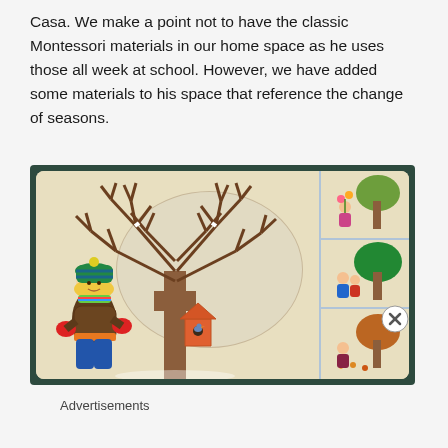Casa. We make a point not to have the classic Montessori materials in our home space as he uses those all week at school. However, we have added some materials to his space that reference the change of seasons.
[Figure (photo): A wooden Montessori seasons puzzle board showing a bare winter tree in the center with an oval cutout, a child dressed in winter clothes with mittens and a striped hat on the left, a birdhouse on the tree trunk, and a right sidebar showing three seasonal tree/child illustrations representing spring, summer, and autumn.]
Advertisements